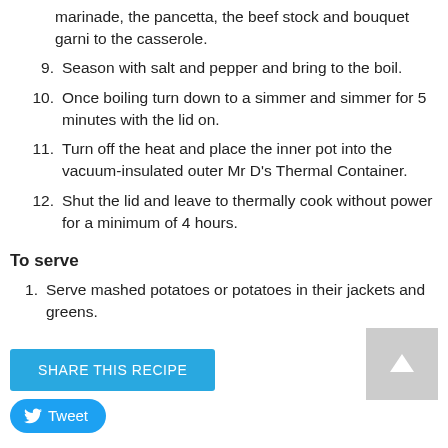marinade, the pancetta, the beef stock and bouquet garni to the casserole.
9. Season with salt and pepper and bring to the boil.
10. Once boiling turn down to a simmer and simmer for 5 minutes with the lid on.
11. Turn off the heat and place the inner pot into the vacuum-insulated outer Mr D's Thermal Container.
12. Shut the lid and leave to thermally cook without power for a minimum of 4 hours.
To serve
1. Serve mashed potatoes or potatoes in their jackets and greens.